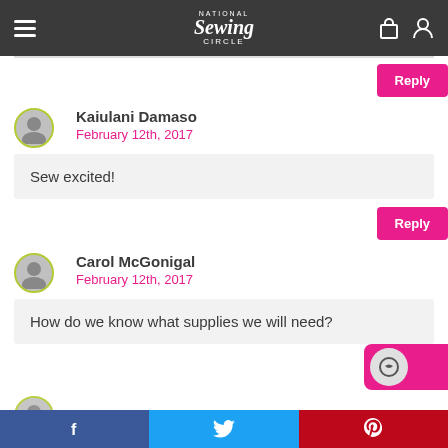National Sewing Circle
Reply
Kaiulani Damaso
February 12th, 2017
Sew excited!
Reply
Carol McGonigal
February 12th, 2017
How do we know what supplies we will need?
Customer Service
f  t  p